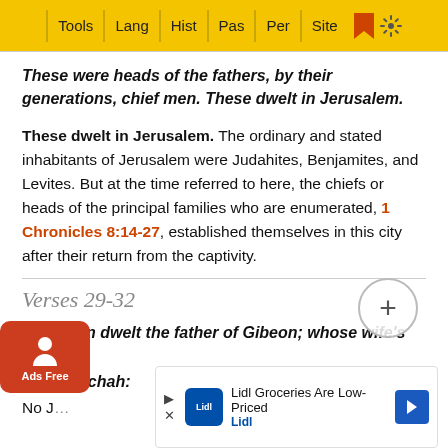Tools | Lang | Hist | Pas | Per | Site
These were heads of the fathers, by their generations, chief men. These dwelt in Jerusalem.
These dwelt in Jerusalem. The ordinary and stated inhabitants of Jerusalem were Judahites, Benjamites, and Levites. But at the time referred to here, the chiefs or heads of the principal families who are enumerated, 1 Chronicles 8:14-27, established themselves in this city after their return from the captivity.
Verses 29-32
at Gibeon dwelt the father of Gibeon; whose wife's name was Maachah:
No J...
[Figure (screenshot): Lidl advertisement banner: 'Lidl Groceries Are Low-Priced' with Lidl logo and navigation arrow]